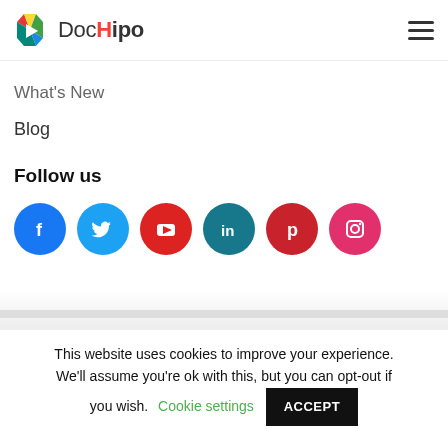DocHipo
What's New
Blog
Follow us
[Figure (infographic): Row of social media icon circles: Facebook (blue), Twitter (cyan), YouTube (red), LinkedIn (teal), Pinterest (dark red), Instagram (pink/magenta)]
This website uses cookies to improve your experience. We'll assume you're ok with this, but you can opt-out if you wish.
Cookie settings
ACCEPT